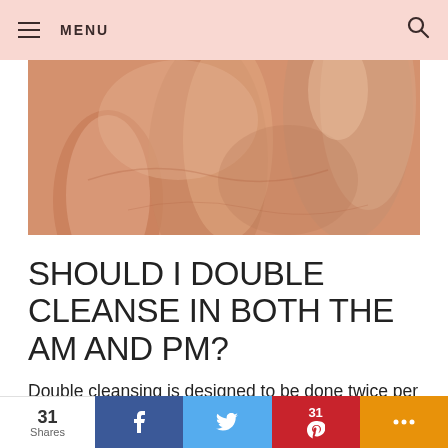MENU
[Figure (photo): Close-up photo of fingers touching skin, warm peach/coral tones]
SHOULD I DOUBLE CLEANSE IN BOTH THE AM AND PM?
Double cleansing is designed to be done twice per day, but if you only want to do it at night you can skip